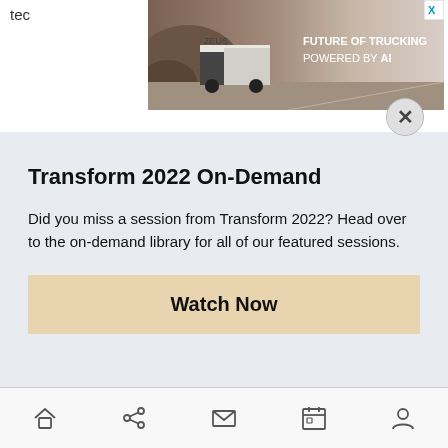[Figure (screenshot): Advertisement banner showing a truck on a road with text 'FUTURE OF TRUCKING POWERED BY AI' and a close button X]
Transform 2022 On-Demand
Did you miss a session from Transform 2022? Head over to the on-demand library for all of our featured sessions.
Watch Now
Bottom navigation bar with home, share, mail, calendar, and profile icons